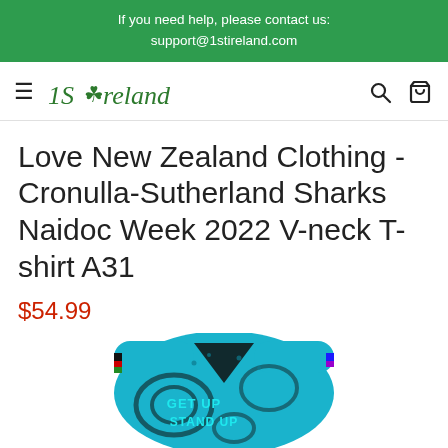If you need help, please contact us:
support@1stireland.com
[Figure (logo): 1st Ireland logo with shamrock icon and italic green text]
Love New Zealand Clothing - Cronulla-Sutherland Sharks Naidoc Week 2022 V-neck T-shirt A31
$54.99
[Figure (photo): Cronulla-Sutherland Sharks Naidoc Week 2022 V-neck T-shirt - blue and black patterned shirt with 'GET UP STAND UP' text]